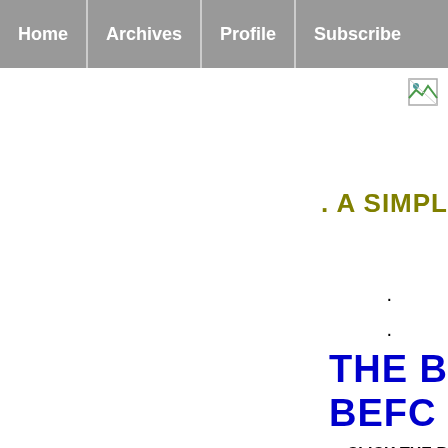Home | Archives | Profile | Subscribe
[Figure (other): Broken image placeholder icon in top right corner]
. A SIMPL
.
.
THE B BEFO
CLICK THE B YOU SAVE T